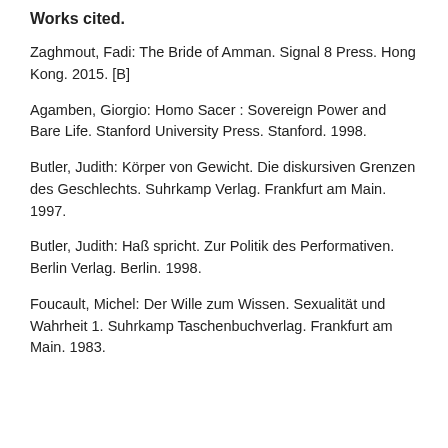Works cited.
Zaghmout, Fadi: The Bride of Amman. Signal 8 Press. Hong Kong. 2015. [B]
Agamben, Giorgio: Homo Sacer : Sovereign Power and Bare Life. Stanford University Press. Stanford. 1998.
Butler, Judith: Körper von Gewicht. Die diskursiven Grenzen des Geschlechts. Suhrkamp Verlag. Frankfurt am Main. 1997.
Butler, Judith: Haß spricht. Zur Politik des Performativen. Berlin Verlag. Berlin. 1998.
Foucault, Michel: Der Wille zum Wissen. Sexualität und Wahrheit 1. Suhrkamp Taschenbuchverlag. Frankfurt am Main. 1983.